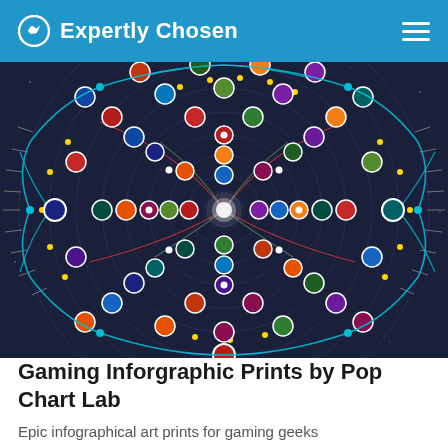Expertly Chosen
[Figure (infographic): A circular radial infographic on a dark navy background showing video game characters arranged in concentric rings connected by colorful lines (cyan, red, yellow, green, gray). Character icons appear as small circular portraits arranged in branching tree-like patterns radiating from a central glowing white point. The connecting lines create a complex web of relationships between game characters.]
Gaming Inforgraphic Prints by Pop Chart Lab
Epic infographical art prints for gaming geeks